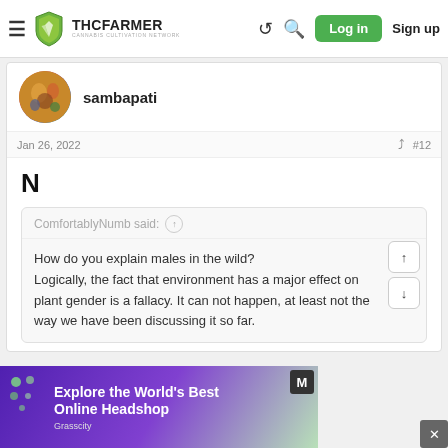THC FARMER — CANNABIS CULTIVATION NETWORK — Log in — Sign up
[Figure (screenshot): THCFarmer forum post by user sambapati dated Jan 26, 2022, post #12, containing the letter N and a quoted block from ComfortablyNumb about males in the wild and plant gender fallacy, with a Grasscity ad banner at the bottom.]
sambapati
Jan 26, 2022
#12
N
ComfortablyNumb said:
How do you explain males in the wild? Logically, the fact that environment has a major effect on plant gender is a fallacy. It can not happen, at least not the way we have been discussing it so far.
Explore the World's Best Online Headshop — Grasscity